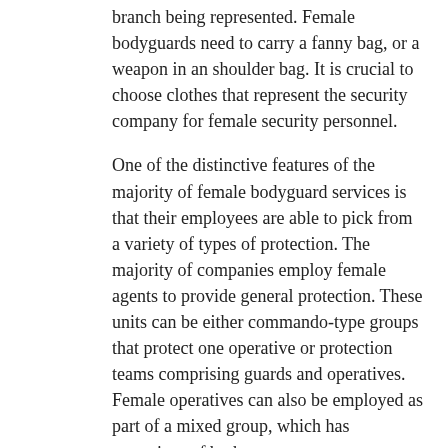branch being represented. Female bodyguards need to carry a fanny bag, or a weapon in an shoulder bag. It is crucial to choose clothes that represent the security company for female security personnel.
One of the distinctive features of the majority of female bodyguard services is that their employees are able to pick from a variety of types of protection. The majority of companies employ female agents to provide general protection. These units can be either commando-type groups that protect one operative or protection teams comprising guards and operatives. Female operatives can also be employed as part of a mixed group, which has operatives of both sexes.
A major government agency such as the CIA or the military FBI may employ multiple agents to provide more protection for its agents. Private security firms are skilled in providing protection services for government agencies, companies, and corporations. Female bodyguards are often the only members of a